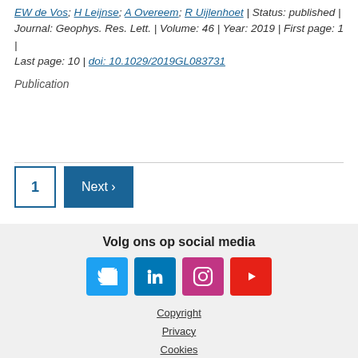EW de Vos; H Leijnse; A Overeem; R Uijlenhoet | Status: published | Journal: Geophys. Res. Lett. | Volume: 46 | Year: 2019 | First page: 1 | Last page: 10 | doi: 10.1029/2019GL083731
Publication
1  Next ›
Volg ons op social media | Copyright | Privacy | Cookies | Toegankelijkheid